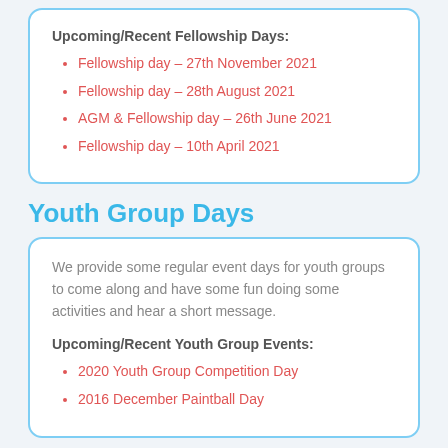Upcoming/Recent Fellowship Days:
Fellowship day – 27th November 2021
Fellowship day – 28th August 2021
AGM & Fellowship day – 26th June 2021
Fellowship day – 10th April 2021
Youth Group Days
We provide some regular event days for youth groups to come along and have some fun doing some activities and hear a short message.
Upcoming/Recent Youth Group Events:
2020 Youth Group Competition Day
2016 December Paintball Day